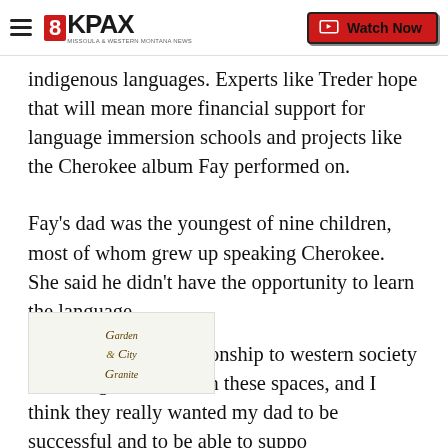8KPAX | Watch Now
indigenous languages. Experts like Treder hope that will mean more financial support for language immersion schools and projects like the Cherokee album Fay performed on.
Fay's dad was the youngest of nine children, most of whom grew up speaking Cherokee. She said he didn't have the opportunity to learn the language.
"There's a weird relationship to western society and being successful in these spaces, and I think they really wanted my dad to be successful and to be able to suppo... d so they didn't teach him Cherokee," Fay said.
[Figure (logo): Garden City Granite advertisement overlay]